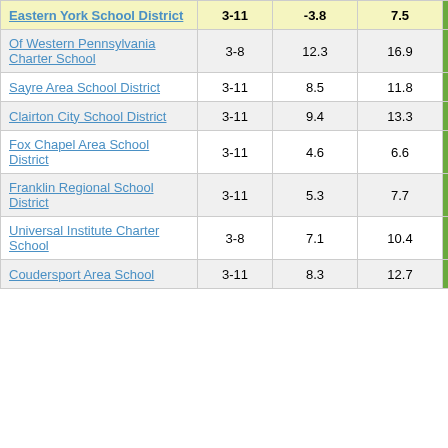| School | Grades | Col3 | Col4 | Score |
| --- | --- | --- | --- | --- |
| Eastern York School District | 3-11 | -3.8 | 7.5 | -0.50 |
| Of Western Pennsylvania Charter School | 3-8 | 12.3 | 16.9 | 0.73 |
| Sayre Area School District | 3-11 | 8.5 | 11.8 | 0.72 |
| Clairton City School District | 3-11 | 9.4 | 13.3 | 0.71 |
| Fox Chapel Area School District | 3-11 | 4.6 | 6.6 | 0.69 |
| Franklin Regional School District | 3-11 | 5.3 | 7.7 | 0.69 |
| Universal Institute Charter School | 3-8 | 7.1 | 10.4 | 0.68 |
| Coudersport Area School | 3-11 | 8.3 | 12.7 | 0.66 |